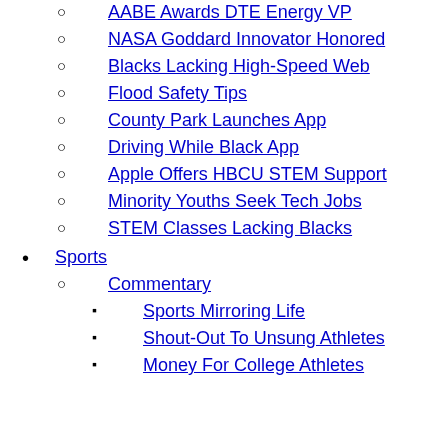AABE Awards DTE Energy VP
NASA Goddard Innovator Honored
Blacks Lacking High-Speed Web
Flood Safety Tips
County Park Launches App
Driving While Black App
Apple Offers HBCU STEM Support
Minority Youths Seek Tech Jobs
STEM Classes Lacking Blacks
Sports
Commentary
Sports Mirroring Life
Shout-Out To Unsung Athletes
Money For College Athletes